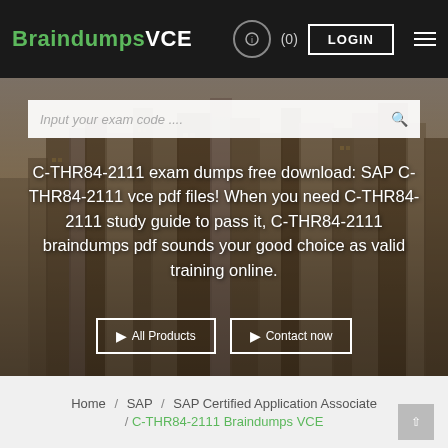BraindumpsVCE  (0)  LOGIN
[Figure (screenshot): City skyline photo used as hero background with search bar overlay]
Input your exam code ....
C-THR84-2111 exam dumps free download: SAP C-THR84-2111 vce pdf files! When you need C-THR84-2111 study guide to pass it, C-THR84-2111 braindumps pdf sounds your good choice as valid training online.
All Products   Contact now
Home / SAP / SAP Certified Application Associate / C-THR84-2111 Braindumps VCE